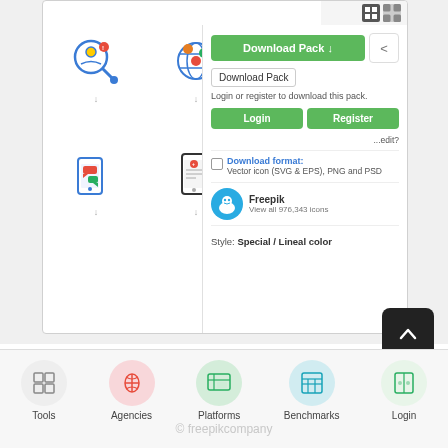[Figure (screenshot): Screenshot of a Freepik icon pack download page showing icons (magnifying glass with person, globe, chat bubbles on phone, phone with list) and a Download Pack panel with Login/Register buttons, download format info, Freepik branding, and style label.]
Like Bannersnack, you also have the option of registering for an account using your Google, Facebook or Twitter account.
[Figure (screenshot): Bottom navigation bar with icons for Tools, Agencies, Platforms, Benchmarks, Login and a back-to-top button.]